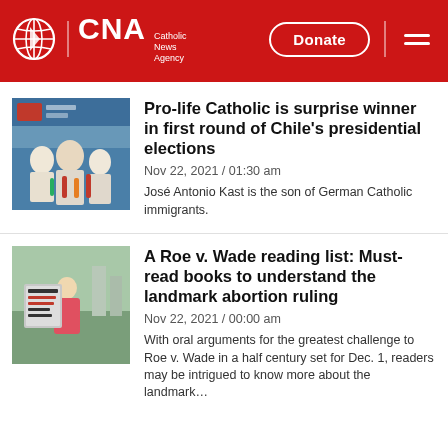CNA Catholic News Agency
Pro-life Catholic is surprise winner in first round of Chile's presidential elections
Nov 22, 2021 / 01:30 am
José Antonio Kast is the son of German Catholic immigrants.
A Roe v. Wade reading list: Must-read books to understand the landmark abortion ruling
Nov 22, 2021 / 00:00 am
With oral arguments for the greatest challenge to Roe v. Wade in a half century set for Dec. 1, readers may be intrigued to know more about the landmark…